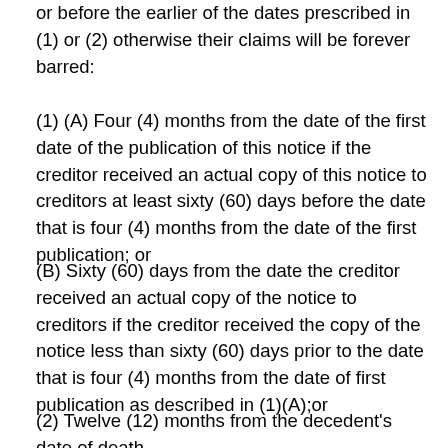or before the earlier of the dates prescribed in (1) or (2) otherwise their claims will be forever barred:
(1) (A) Four (4) months from the date of the first date of the publication of this notice if the creditor received an actual copy of this notice to creditors at least sixty (60) days before the date that is four (4) months from the date of the first publication; or
(B) Sixty (60) days from the date the creditor received an actual copy of the notice to creditors if the creditor received the copy of the notice less than sixty (60) days prior to the date that is four (4) months from the date of first publication as described in (1)(A);or
(2) Twelve (12) months from the decedent's date of death.